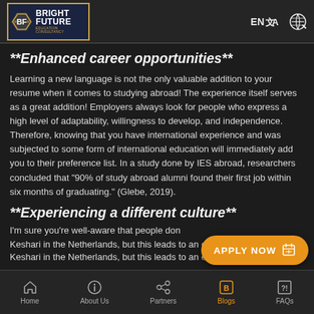Bright Future Education Consultancy — EN / Language / Settings navigation
**Enhanced career opportunities**
Learning a new language is not the only valuable addition to your resume when it comes to studying abroad! The experience itself serves as a great addition! Employers always look for people who express a high level of adaptability, willingness to develop, and independence. Therefore, knowing that you have international experience and was subjected to some form of international education will immediately add you to their preference list. In a study done by IES abroad, researchers concluded that "90% of study abroad alumni found their first job within six months of graduating." (Glebe, 2019).
**Experiencing a different culture**
I'm sure you're well-aware that people don... Keshari in the Netherlands, but this leads to an especially
Home | About Us | Partners | Blogs | FAQs